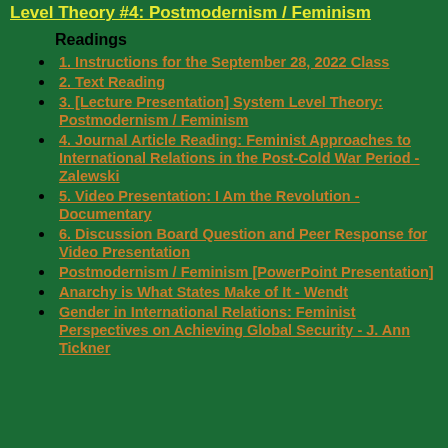Level Theory #4: Postmodernism / Feminism
Readings
1. Instructions for the September 28, 2022 Class
2. Text Reading
3. [Lecture Presentation] System Level Theory: Postmodernism / Feminism
4. Journal Article Reading: Feminist Approaches to International Relations in the Post-Cold War Period - Zalewski
5. Video Presentation: I Am the Revolution - Documentary
6. Discussion Board Question and Peer Response for Video Presentation
Postmodernism / Feminism [PowerPoint Presentation]
Anarchy is What States Make of It - Wendt
Gender in International Relations: Feminist Perspectives on Achieving Global Security - J. Ann Tickner